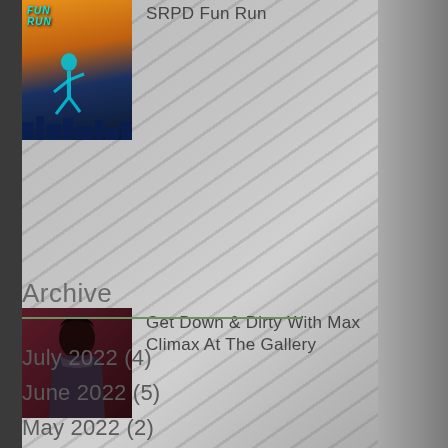[Figure (photo): Thumbnail image for SRPD Fun Run post - colorful event poster with blue figure running]
SRPD Fun Run
[Figure (photo): Thumbnail image for Get Down & Dirty With Max Climax post - dark artistic portrait]
Get Down & Dirty With Max Climax At The Gallery
Archive
July 2022 (4)
June 2022 (5)
May 2022 (2)
April 2022 (1)